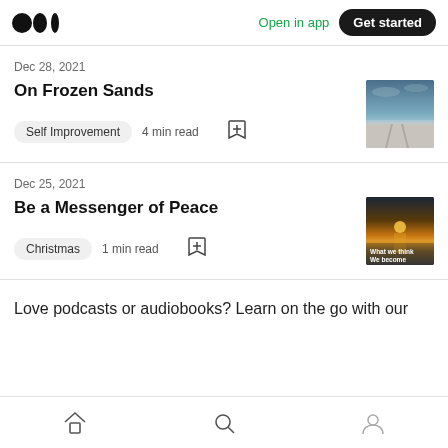Medium logo | Open in app | Get started
Dec 28, 2021
On Frozen Sands
Self Improvement · 4 min read
[Figure (photo): Wintry frozen beach/sand landscape with tire tracks, cloudy sky]
Dec 25, 2021
Be a Messenger of Peace
Christmas · 1 min read
[Figure (photo): Sunset reflecting on water with text 'What we think We become']
Love podcasts or audiobooks? Learn on the go with our